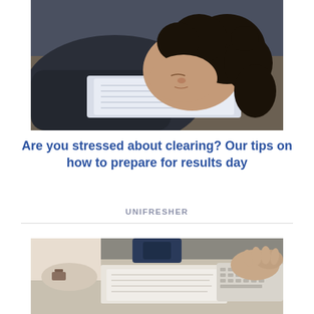[Figure (photo): A young person with curly hair sleeping face-down on papers/documents on a table, wearing a dark hoodie]
Are you stressed about clearing? Our tips on how to prepare for results day
UNIFRESHER
[Figure (photo): Two people sitting at a table working, one typing on a keyboard and another with watch writing on documents]